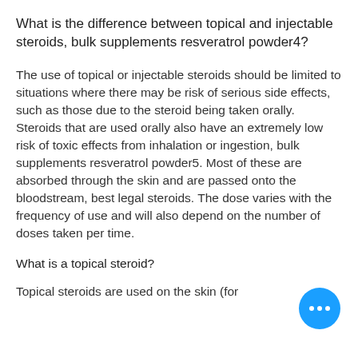What is the difference between topical and injectable steroids, bulk supplements resveratrol powder4?
The use of topical or injectable steroids should be limited to situations where there may be risk of serious side effects, such as those due to the steroid being taken orally. Steroids that are used orally also have an extremely low risk of toxic effects from inhalation or ingestion, bulk supplements resveratrol powder5. Most of these are absorbed through the skin and are passed onto the bloodstream, best legal steroids. The dose varies with the frequency of use and will also depend on the number of doses taken per time.
What is a topical steroid?
Topical steroids are used on the skin (for